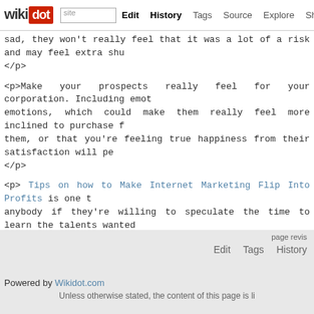wikidot | site Edit History Tags Source Explore Share on
<p> sad, they won't really feel that it was a lot of a risk and may feel extra shu </p>
<p>Make your prospects really feel for your corporation. Including emot emotions, which could make them really feel more inclined to purchase f them, or that you're feeling true happiness from their satisfaction will pe </p>
<p> Tips on how to Make Internet Marketing Flip Into Profits is one t anybody if they're willing to speculate the time to learn the talents wanted put within the hours training you'll be capable to have some outcomes no
<p>As you can inform from the knowledge in this article, efficient int concepts and action. This article is not the only info on the market, how route. Branding your online business needs to be your biggest goal, so re
Comments: 0
Add a New Comment
page revis Edit Tags History Powered by Wikidot.com Unless otherwise stated, the content of this page is li